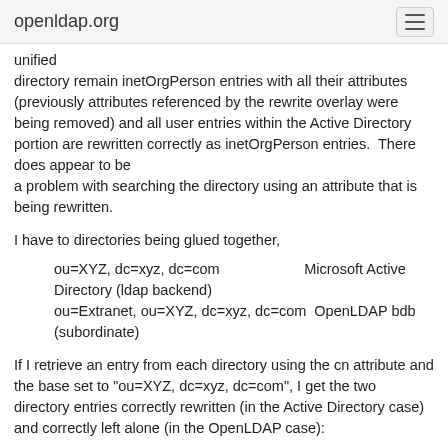openldap.org
unified
directory remain inetOrgPerson entries with all their attributes (previously attributes referenced by the rewrite overlay were being removed) and all user entries within the Active Directory portion are rewritten correctly as inetOrgPerson entries.  There does appear to be
a problem with searching the directory using an attribute that is being rewritten.
I have to directories being glued together,
ou=XYZ, dc=xyz, dc=com                    Microsoft Active Directory (ldap backend)
      ou=Extranet, ou=XYZ, dc=xyz, dc=com  OpenLDAP bdb (subordinate)
If I retrieve an entry from each directory using the cn attribute and the base set to "ou=XYZ, dc=xyz, dc=com", I get the two directory entries correctly rewritten (in the Active Directory case) and correctly left alone (in the OpenLDAP case):